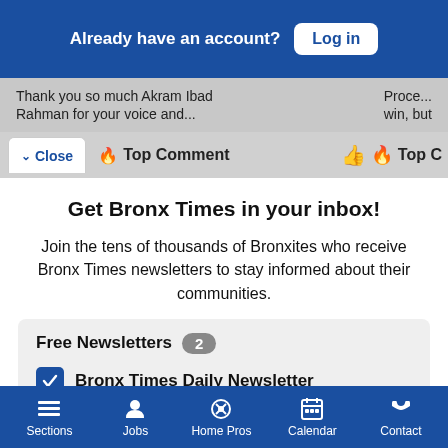Already have an account? Log in
Thank you so much Akram Ibad Rahman for your voice and...
Close   🔥 Top Comment   👍   🔥 Top C
Get Bronx Times in your inbox!
Join the tens of thousands of Bronxites who receive Bronx Times newsletters to stay informed about their communities.
Free Newsletters  2
✓ Bronx Times Daily Newsletter
✓ Bronx Times Events
Sections   Jobs   Home Pros   Calendar   Contact